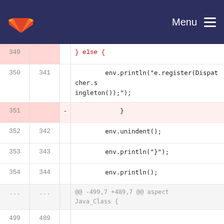Menu
[Figure (screenshot): GitLab diff view showing code changes. Lines 349-354 show deletion and context lines with env.println calls. Lines 499-502 show refactoring comment and public void method declaration with String genericStr deletion.]